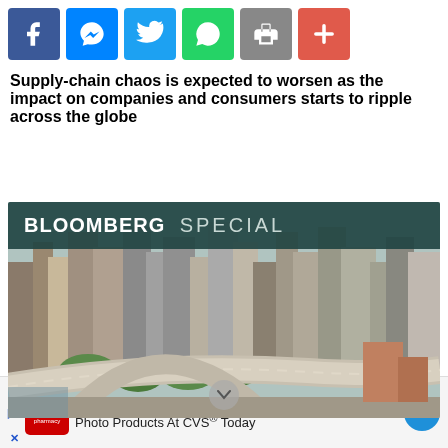[Figure (infographic): Social sharing icons: Facebook, Messenger, Twitter, WhatsApp, Print, Plus]
Supply-chain chaos is expected to worsen as the impact on companies and consumers starts to ripple across the globe
[Figure (photo): Bloomberg Special banner over aerial photo of a city with highways and skyscrapers]
[Figure (infographic): Advertisement: Shop A Variety Of High Quality Photo Products At CVS® Today]